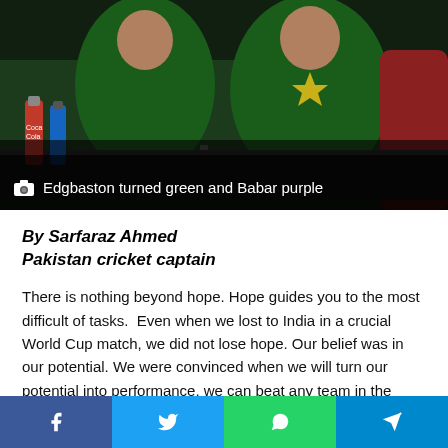[Figure (photo): Pakistan cricket players in green uniforms at a press conference, with Coca-Cola bottles visible on the table]
Edgbaston turned green and Babar purple
By Sarfaraz Ahmed
Pakistan cricket captain
There is nothing beyond hope. Hope guides you to the most difficult of tasks.  Even when we lost to India in a crucial World Cup match, we did not lose hope. Our belief was in our potential. We were convinced when we will turn our potential into performance, we can beat any team in the event.

After a two -day off, there seems to be a revival of the side, which looks rejuvenated.  The most valuable and priceless